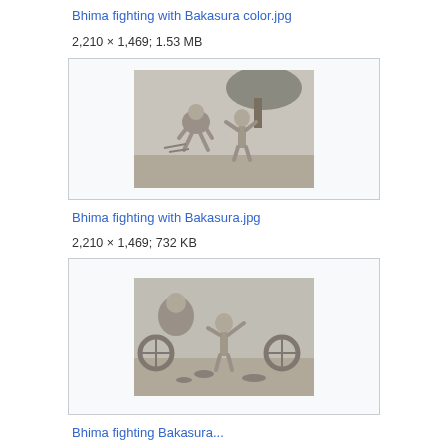Bhima fighting with Bakasura color.jpg
2,210 × 1,469; 1.53 MB
[Figure (illustration): Grayscale illustration of Bhima fighting with Bakasura (color version) - two figures in combat under trees]
Bhima fighting with Bakasura.jpg
2,210 × 1,469; 732 KB
[Figure (illustration): Grayscale illustration of Bhima fighting with Bakasura - a figure throwing a chariot wheel at another figure]
Bhima fighting Bakasura...